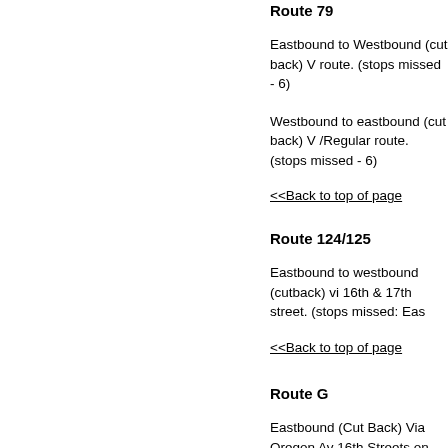Route 79
Eastbound to Westbound (cut back) V route. (stops missed - 6)
Westbound to eastbound (cut back) V /Regular route. (stops missed - 6)
<<Back to top of page
Route 124/125
Eastbound to westbound (cutback) vi 16th & 17th street. (stops missed: Eas
<<Back to top of page
Route G
Eastbound (Cut Back) Via Oregon Av 16th Streets on Oregon ) (stops misse